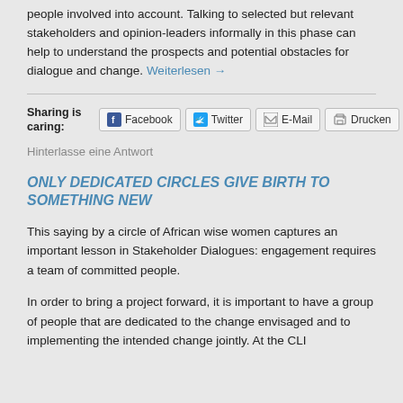people involved into account. Talking to selected but relevant stakeholders and opinion-leaders informally in this phase can help to understand the prospects and potential obstacles for dialogue and change. Weiterlesen →
Sharing is caring: Facebook Twitter E-Mail Drucken
Hinterlasse eine Antwort
ONLY DEDICATED CIRCLES GIVE BIRTH TO SOMETHING NEW
This saying by a circle of African wise women captures an important lesson in Stakeholder Dialogues: engagement requires a team of committed people.
In order to bring a project forward, it is important to have a group of people that are dedicated to the change envisaged and to implementing the intended change jointly. At the CLI